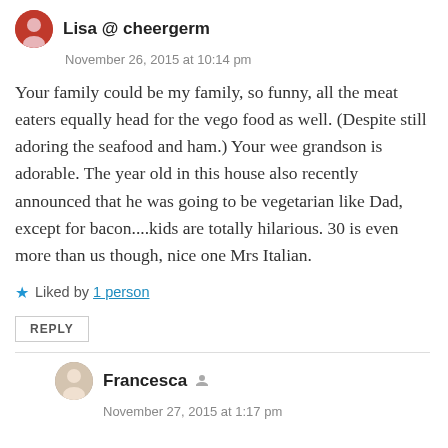Lisa @ cheergerm
November 26, 2015 at 10:14 pm
Your family could be my family, so funny, all the meat eaters equally head for the vego food as well. (Despite still adoring the seafood and ham.) Your wee grandson is adorable. The year old in this house also recently announced that he was going to be vegetarian like Dad, except for bacon....kids are totally hilarious. 30 is even more than us though, nice one Mrs Italian.
Liked by 1 person
REPLY
Francesca
November 27, 2015 at 1:17 pm